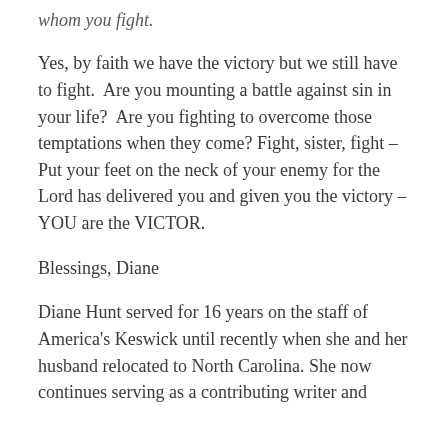whom you fight.
Yes, by faith we have the victory but we still have to fight.  Are you mounting a battle against sin in your life?  Are you fighting to overcome those temptations when they come? Fight, sister, fight – Put your feet on the neck of your enemy for the Lord has delivered you and given you the victory – YOU are the VICTOR.
Blessings, Diane
Diane Hunt served for 16 years on the staff of America's Keswick until recently when she and her husband relocated to North Carolina. She now continues serving as a contributing writer and